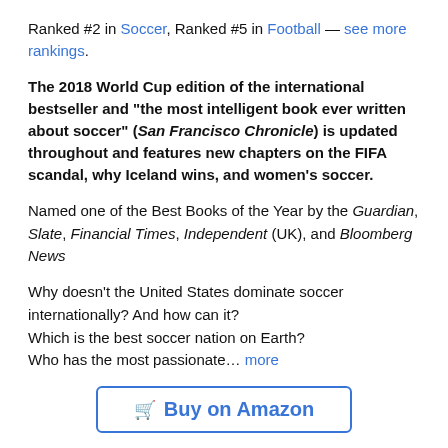Ranked #2 in Soccer, Ranked #5 in Football — see more rankings.
The 2018 World Cup edition of the international bestseller and "the most intelligent book ever written about soccer" (San Francisco Chronicle) is updated throughout and features new chapters on the FIFA scandal, why Iceland wins, and women's soccer.
Named one of the Best Books of the Year by the Guardian, Slate, Financial Times, Independent (UK), and Bloomberg News
Why doesn't the United States dominate soccer internationally? And how can it?
Which is the best soccer nation on Earth?
Who has the most passionate... more
[Figure (other): Buy on Amazon button with shopping cart icon]